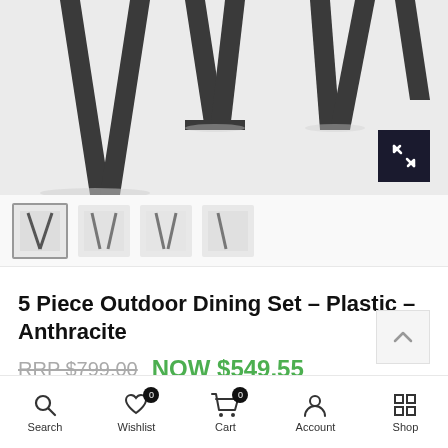[Figure (photo): Top portion of outdoor dining set chairs showing dark anthracite plastic/metal legs against a light gray background]
[Figure (other): Thumbnail carousel with 4 product image thumbnails, first one active with border]
5 Piece Outdoor Dining Set – Plastic – Anthracite
RRP $799.00  NOW $549.55
5 fortnightly payments of $109.91 with humm  more info
Search  Wishlist 0  Cart 0  Account  Shop